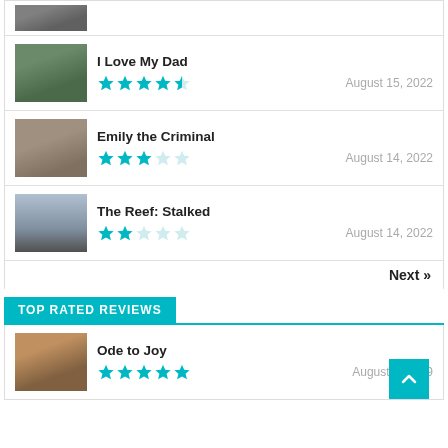[Figure (photo): Partial movie thumbnail at top]
I Love My Dad
[Figure (other): 4.5 star rating]
August 15, 2022
[Figure (photo): Emily the Criminal movie thumbnail]
Emily the Criminal
[Figure (other): 3 star rating]
August 14, 2022
[Figure (photo): The Reef: Stalked movie thumbnail]
The Reef: Stalked
[Figure (other): 2 star rating]
August 14, 2022
Next »
TOP RATED REVIEWS
[Figure (photo): Ode to Joy movie thumbnail]
Ode to Joy
[Figure (other): 5 star rating]
August 9, 2019